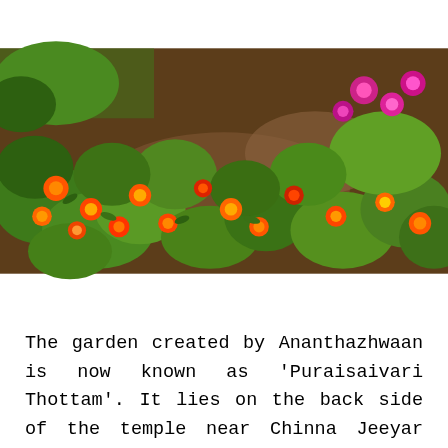[Figure (photo): A garden with colorful flowers including orange, red, and pink zinnia/marigold type flowers with green leaves growing in dark soil, viewed from above.]
The garden created by Ananthazhwaan is now known as ‘Puraisaivari Thottam’. It lies on the back side of the temple near Chinna Jeeyar Mutt and one can reach this place through the Thirumala Museum also.    Now there is a beautiful nanthavanam  at this place maintained by the descendents of Thirumalai Ananthazhwaan.  The lake created by him now stands majestically as ‘Ramanuja lake” replete with water on the hill !! Twice in a year,  Sri Malayappar visits this place [Baag Savari & Thiruvadipuram day]   and   honours Ananthazhwaan now in the form of Magizha maram.  ‘Sri Venkatesa Ithihasa maala’ is considered the best amongst the many works of